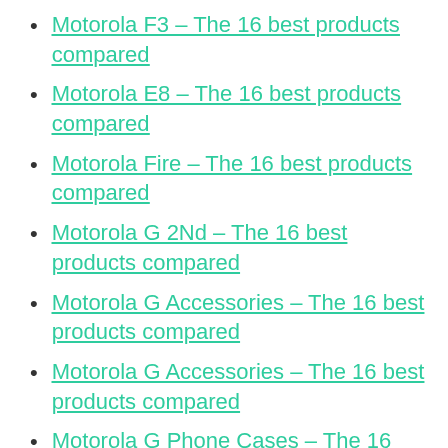Motorola F3 – The 16 best products compared
Motorola E8 – The 16 best products compared
Motorola Fire – The 16 best products compared
Motorola G 2Nd – The 16 best products compared
Motorola G Accessories – The 16 best products compared
Motorola G Accessories – The 16 best products compared
Motorola G Phone Cases – The 16 best